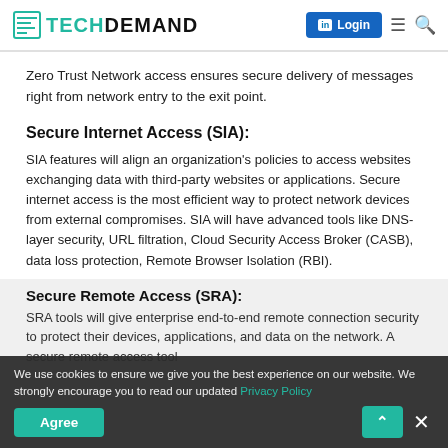TECH DEMAND — Login
Zero Trust Network access ensures secure delivery of messages right from network entry to the exit point.
Secure Internet Access (SIA):
SIA features will align an organization's policies to access websites exchanging data with third-party websites or applications. Secure internet access is the most efficient way to protect network devices from external compromises. SIA will have advanced tools like DNS-layer security, URL filtration, Cloud Security Access Broker (CASB), data loss protection, Remote Browser Isolation (RBI).
Secure Remote Access (SRA):
SRA tools will give enterprise end-to-end remote connection security to protect their devices, applications, and data on the network. A secure remote access tool
We use cookies to ensure we give you the best experience on our website. We strongly encourage you to read our updated Privacy Policy